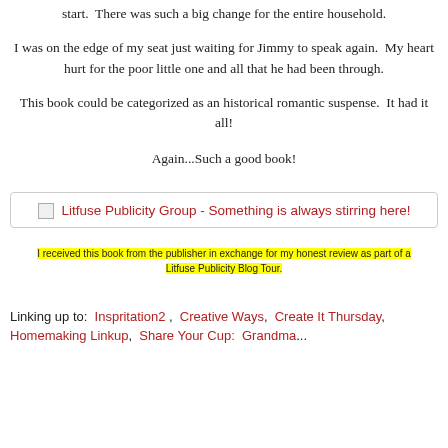start.  There was such a big change for the entire household.
I was on the edge of my seat just waiting for Jimmy to speak again.  My heart hurt for the poor little one and all that he had been through.
This book could be categorized as an historical romantic suspense.  It had it all!
Again...Such a good book!
[Figure (other): Litfuse Publicity Group banner - broken image with red text: Litfuse Publicity Group - Something is always stirring here!]
I received this book from the publisher in exchange for my honest review as part of a Litfuse Publicity Blog Tour.
Linking up to:  Inspritation2 ,  Creative Ways,  Create It Thursday,  Homemaking Linkup,  Share Your Cup:  Grandma...